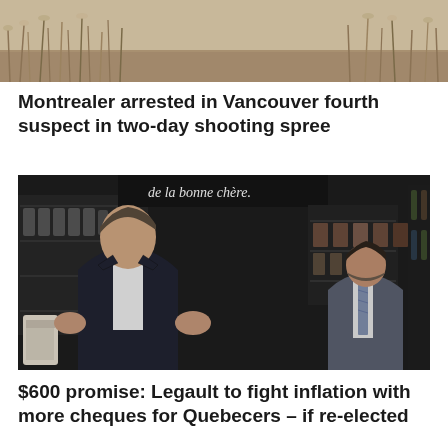[Figure (photo): Top portion of an outdoor scene with gravel/dirt ground and dry grasses/plants in the background]
Montrealer arrested in Vancouver fourth suspect in two-day shooting spree
[Figure (photo): A man in a dark suit (François Legault) speaking with hands open/gesturing in what appears to be a grocery or deli store with dark shelving and products in background. A second man in a grey suit and striped tie stands behind him. A sign reading 'de la bonne chère' is visible.]
$600 promise: Legault to fight inflation with more cheques for Quebecers – if re-elected